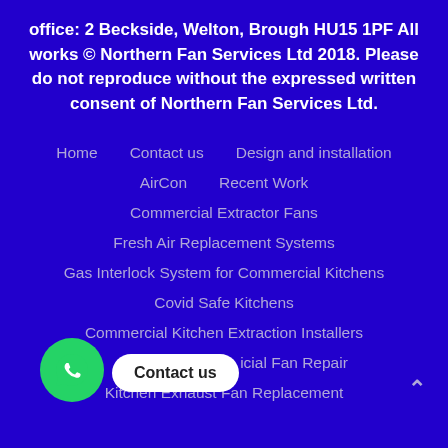office: 2 Beckside, Welton, Brough HU15 1PF All works © Northern Fan Services Ltd 2018. Please do not reproduce without the expressed written consent of Northern Fan Services Ltd.
Home
Contact us
Design and installation
AirCon
Recent Work
Commercial Extractor Fans
Fresh Air Replacement Systems
Gas Interlock System for Commercial Kitchens
Covid Safe Kitchens
Commercial Kitchen Extraction Installers
Commercial Fan Repair
Kitchen Exhaust Fan Replacement